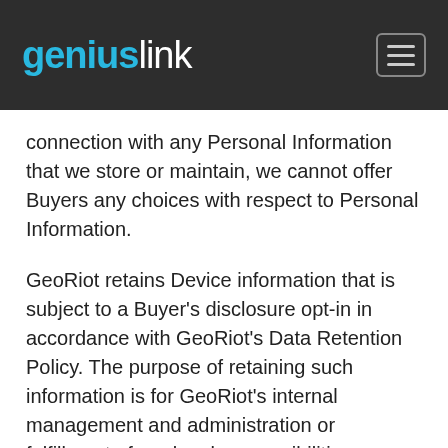geniuslink (logo/navigation header)
connection with any Personal Information that we store or maintain, we cannot offer Buyers any choices with respect to Personal Information.
GeoRiot retains Device information that is subject to a Buyer's disclosure opt-in in accordance with GeoRiot's Data Retention Policy. The purpose of retaining such information is for GeoRiot's internal management and administration or fulfillment of our legal responsibilities or protection of our legal interests. Residual User Agent information, which GeoRiot de-identifies to the standard of reidentification set forth under applicable law, may